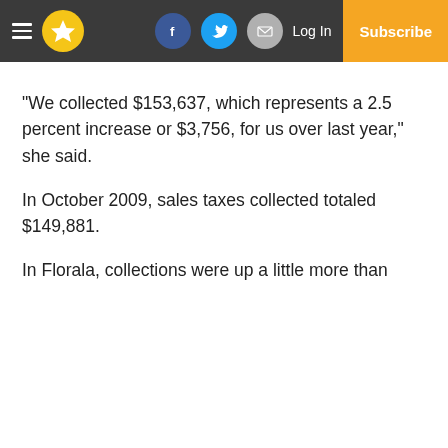Navigation bar with menu, logo, Facebook, Twitter, email icons, Log In, Subscribe
“We collected $153,637, which represents a 2.5 percent increase or $3,756, for us over last year,” she said.
In October 2009, sales taxes collected totaled $149,881.
In Florala, collections were up a little more than